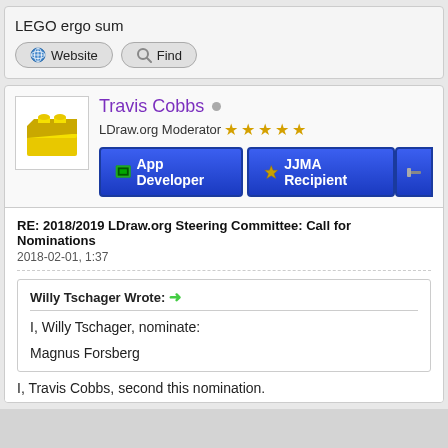LEGO ergo sum
[Figure (screenshot): Website and Find buttons]
[Figure (screenshot): Travis Cobbs user profile with yellow LEGO brick avatar, LDraw.org Moderator with 5 stars, App Developer and JJMA Recipient badges]
RE: 2018/2019 LDraw.org Steering Committee: Call for Nominations
2018-02-01, 1:37
Willy Tschager Wrote:
I, Willy Tschager, nominate:
Magnus Forsberg
I, Travis Cobbs, second this nomination.